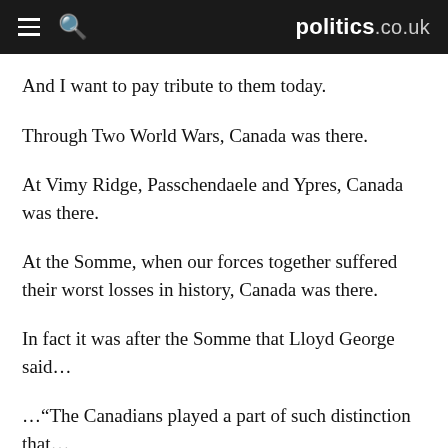politics.co.uk
And I want to pay tribute to them today.
Through Two World Wars, Canada was there.
At Vimy Ridge, Passchendaele and Ypres, Canada was there.
At the Somme, when our forces together suffered their worst losses in history, Canada was there.
In fact it was after the Somme that Lloyd George said…
…“The Canadians played a part of such distinction that…